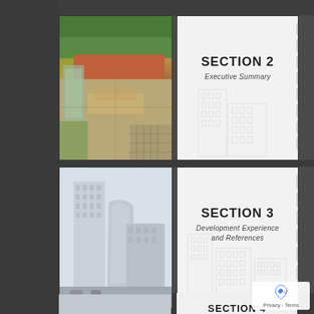[Figure (photo): Aerial view of an urban development site with buildings, streets, and green areas, printed on a binder section cover]
SECTION 2
Executive Summary
[Figure (photo): Architectural rendering of modern high-rise buildings, printed on a binder section cover]
SECTION 3
Development Experience and References
[Figure (photo): Partial view of another binder section cover with architectural imagery, partially visible at bottom]
SECTION 4